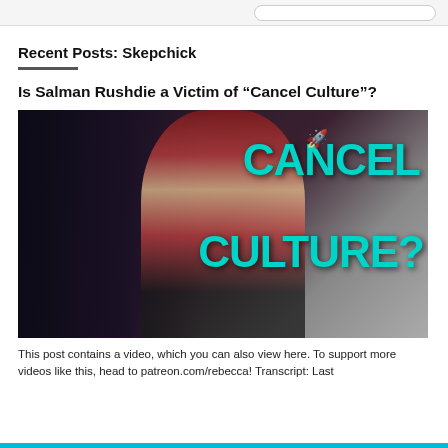Recent Posts: Skepchick
Is Salman Rushdie a Victim of “Cancel Culture”?
[Figure (photo): Thumbnail image showing two people: an older man on the left partially visible, and a young woman with red hair and blue-framed glasses in the center, with bold teal text reading 'CANCEL CULTURE?' on the right side against a dark background.]
This post contains a video, which you can also view here. To support more videos like this, head to patreon.com/rebecca! Transcript: Last